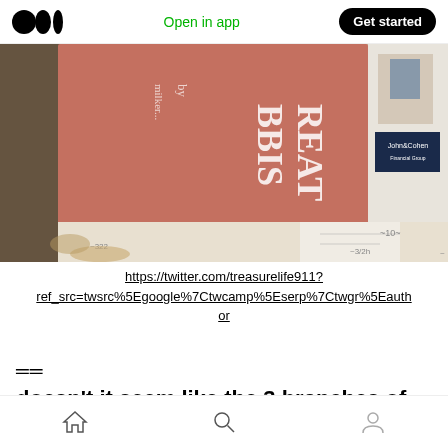Medium app header with logo, Open in app, Get started
[Figure (photo): Photo of books and papers on a surface. A reddish-pink book spine is prominently visible with partial text 'BBIS' and 'REAT'. Some documents and a business card are visible on the right side.]
https://twitter.com/treasurelife911?ref_src=twsrc%5Egoogle%7Ctwcamp%5Eserp%7Ctwgr%5Eauthor
=
doesn't it seem like the 3 branches of
Home, Search, Profile navigation icons